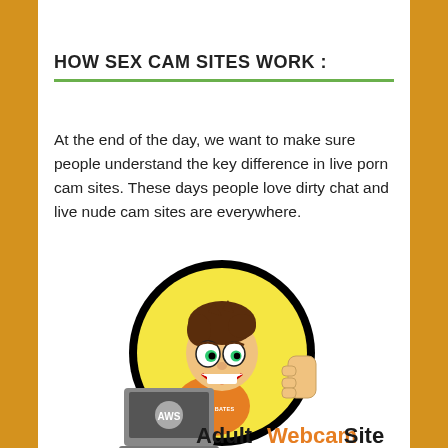HOW SEX CAM SITES WORK :
At the end of the day, we want to make sure people understand the key difference in live porn cam sites. These days people love dirty chat and live nude cam sites are everywhere.
[Figure (logo): AdultWebcam Site cartoon mascot logo: a cartoon boy with brown hair holding a laptop labeled AWS, giving a thumbs up, wearing an orange shirt, inside a black circle with yellow background. Text below reads 'AdultWebcam Site' in bold black and orange.]